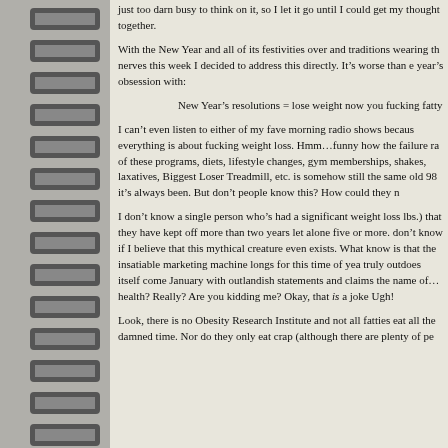just too darn busy to think on it, so I let it go until I could get my thoughts together.
With the New Year and all of its festivities over and traditions wearing thin on my nerves this week I decided to address this directly. Itâ€™s worse than ever. This yearâ€™s obsession with:
New Yearâ€™s resolutions = lose weight now you fucking fatty
I canâ€™t even listen to either of my fave morning radio shows because everything is about fucking weight loss. Hmmâ€¦funny how the failure rate of these programs, diets, lifestyle changes, gym memberships, shakes, laxatives, Biggest Loser Treadmill, etc. is somehow still the same old 98% itâ€™s always been. But donâ€™t people know this? How could they not.
I donâ€™t know a single person whoâ€™s had a significant weight loss (20+ lbs.) that they have kept off more than two years let alone five or more. I donâ€™t know if I believe that this mythical creature even exists. What I do know is that the insatiable marketing machine longs for this time of year and truly outdoes itself come January with outlandish statements and claims in the name ofâ€¦health? Really? Are you kidding me? Okay, that is a joke. Ugh!
Look, there is no Obesity Research Institute and not all fatties eat all the damned time. Nor do they only eat crap (although there are plenty of people